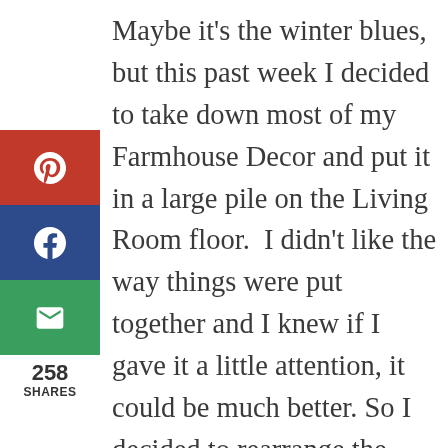[Figure (other): Social sharing sidebar with Pinterest (red), Facebook (dark blue), and Email (green) buttons, plus a share count of 258 SHARES]
Maybe it's the winter blues, but this past week I decided to take down most of my Farmhouse Decor and put it in a large pile on the Living Room floor.  I didn't like the way things were put together and I knew if I gave it a little attention, it could be much better. So I decided to rearrange the items to make some Farmhouse Vignettes. One of the benefits of